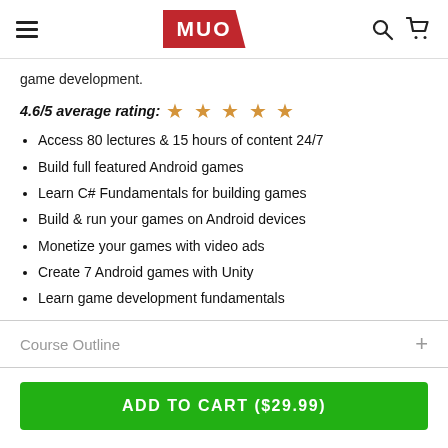MUO
game development.
4.6/5 average rating: ★ ★ ★ ★ ★
Access 80 lectures & 15 hours of content 24/7
Build full featured Android games
Learn C# Fundamentals for building games
Build & run your games on Android devices
Monetize your games with video ads
Create 7 Android games with Unity
Learn game development fundamentals
Course Outline
ADD TO CART ($29.99)